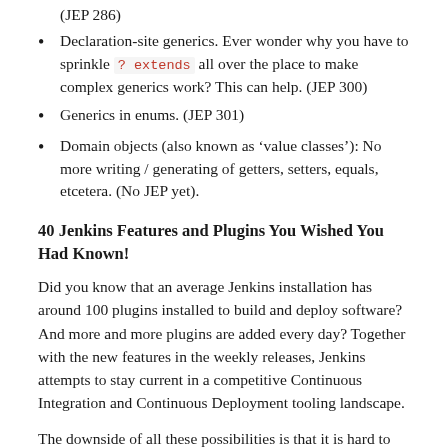(JEP 286)
Declaration-site generics. Ever wonder why you have to sprinkle ? extends all over the place to make complex generics work? This can help. (JEP 300)
Generics in enums. (JEP 301)
Domain objects (also known as 'value classes'): No more writing / generating of getters, setters, equals, etcetera. (No JEP yet).
40 Jenkins Features and Plugins You Wished You Had Known!
Did you know that an average Jenkins installation has around 100 plugins installed to build and deploy software? And more and more plugins are added every day? Together with the new features in the weekly releases, Jenkins attempts to stay current in a competitive Continuous Integration and Continuous Deployment tooling landscape.
The downside of all these possibilities is that it is hard to